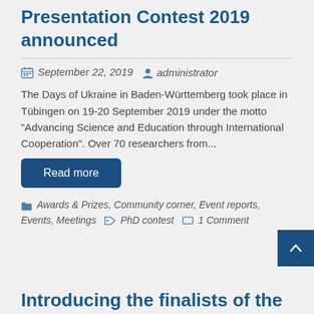Presentation Contest 2019 announced
September 22, 2019   administrator
The Days of Ukraine in Baden-Württemberg took place in Tübingen on 19-20 September 2019 under the motto "Advancing Science and Education through International Cooperation". Over 70 researchers from...
Read more
Awards & Prizes, Community corner, Event reports, Events, Meetings   PhD contest   1 Comment
Introducing the finalists of the